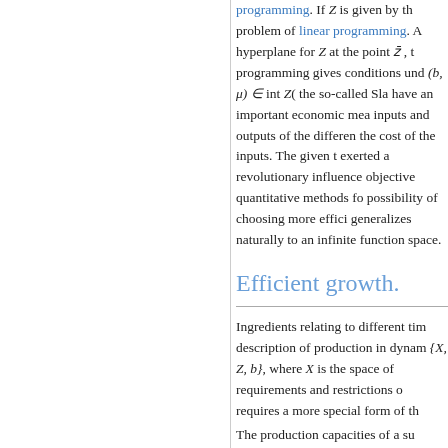programming. If Z is given by the problem of linear programming. A hyperplane for Z at the point z̄, the programming gives conditions under (b,μ) ∈ int Z( the so-called Slater have an important economic meaning: inputs and outputs of the different the cost of the inputs. The given th exerted a revolutionary influence on objective quantitative methods for possibility of choosing more efficiently generalizes naturally to an infinite function space.
Efficient growth.
Ingredients relating to different time description of production in dynamic {X, Z, b}, where X is the space of requirements and restrictions on requires a more special form of the
The production capacities of a suf...